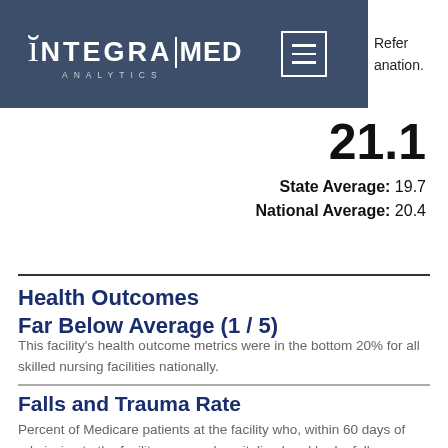IntegraMed Analytics — navigation header
Refer [to] explanation.
21.1
State Average: 19.7
National Average: 20.4
Health Outcomes Far Below Average (1 / 5)
This facility's health outcome metrics were in the bottom 20% for all skilled nursing facilities nationally.
Falls and Trauma Rate
Percent of Medicare patients at the facility who, within 60 days of admission to the facility, were re-hospitalized and had a fall or trauma-related diagnosis. Refer to methodology page